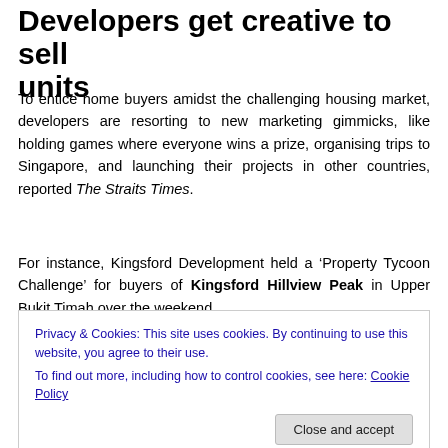Developers get creative to sell units
To entice home buyers amidst the challenging housing market, developers are resorting to new marketing gimmicks, like holding games where everyone wins a prize, organising trips to Singapore, and launching their projects in other countries, reported The Straits Times.
For instance, Kingsford Development held a ‘Property Tycoon Challenge’ for buyers of Kingsford Hillview Peak in Upper Bukit Timah over the weekend.
Privacy & Cookies: This site uses cookies. By continuing to use this website, you agree to their use.
To find out more, including how to control cookies, see here: Cookie Policy
give the correct answers to the questions in the game